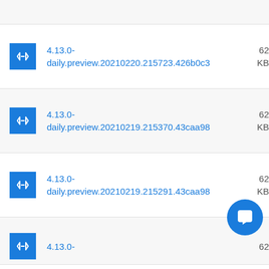4.13.0-daily.preview.20210220.215723.426b0c3  62... KB
4.13.0-daily.preview.20210219.215370.43caa98  62... KB
4.13.0-daily.preview.20210219.215291.43caa98  62... KB
4.13.0-  62...